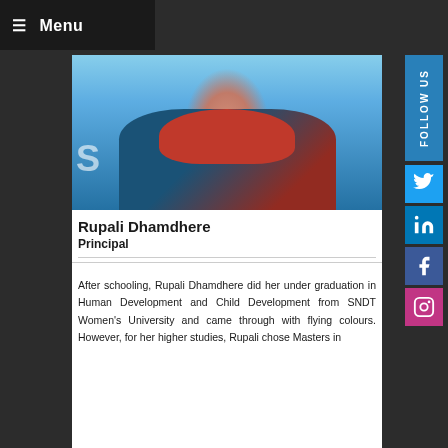☰ Menu
[Figure (photo): Portrait photo of Rupali Dhamdhere wearing a blue and red saree with a red lanyard, standing in front of a backdrop with letter S visible]
Rupali Dhamdhere
Principal
After schooling, Rupali Dhamdhere did her under graduation in Human Development and Child Development from SNDT Women's University and came through with flying colours. However, for her higher studies, Rupali chose Masters in